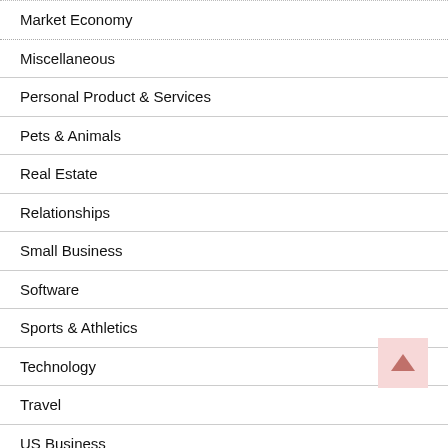Market Economy
Miscellaneous
Personal Product & Services
Pets & Animals
Real Estate
Relationships
Small Business
Software
Sports & Athletics
Technology
Travel
US Business
Small Business
Small Business Administration